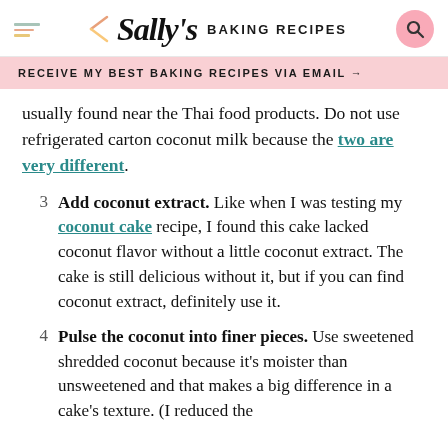Sally's BAKING RECIPES
RECEIVE MY BEST BAKING RECIPES VIA EMAIL →
usually found near the Thai food products. Do not use refrigerated carton coconut milk because the two are very different.
3 Add coconut extract. Like when I was testing my coconut cake recipe, I found this cake lacked coconut flavor without a little coconut extract. The cake is still delicious without it, but if you can find coconut extract, definitely use it.
4 Pulse the coconut into finer pieces. Use sweetened shredded coconut because it's moister than unsweetened and that makes a big difference in a cake's texture. (I reduced the